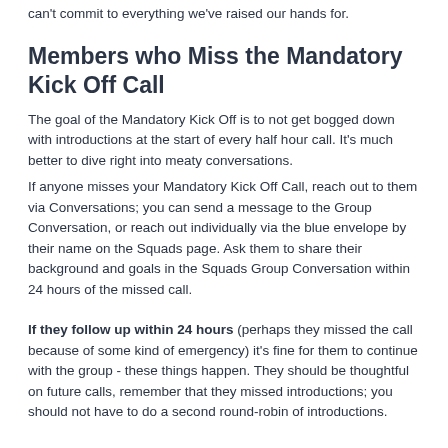can't commit to everything we've raised our hands for.
Members who Miss the Mandatory Kick Off Call
The goal of the Mandatory Kick Off is to not get bogged down with introductions at the start of every half hour call. It's much better to dive right into meaty conversations.
If anyone misses your Mandatory Kick Off Call, reach out to them via Conversations; you can send a message to the Group Conversation, or reach out individually via the blue envelope by their name on the Squads page. Ask them to share their background and goals in the Squads Group Conversation within 24 hours of the missed call.
If they follow up within 24 hours (perhaps they missed the call because of some kind of emergency) it's fine for them to continue with the group - these things happen. They should be thoughtful on future calls, remember that they missed introductions; you should not have to do a second round-robin of introductions.
If they do not follow up within 24 hours, you can use the Manage Squad Members tool to remove them from your Squad. They'll get a confirmation email and can follow up with Ellevate if they feel the change was made incorrectly.